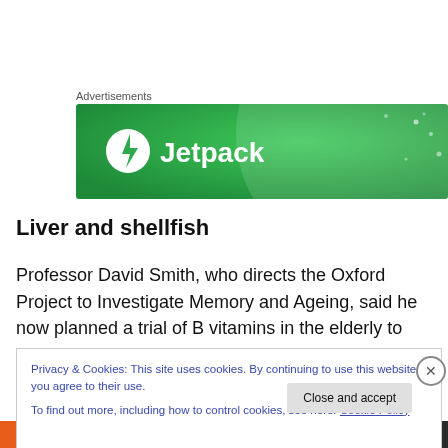Advertisements
[Figure (logo): Jetpack advertisement banner — green background with white Jetpack logo (circle with lightning bolt) and white bold text 'Jetpack']
Liver and shellfish
Professor David Smith, who directs the Oxford Project to Investigate Memory and Ageing, said he now planned a trial of B vitamins in the elderly to see if taking them could
Privacy & Cookies: This site uses cookies. By continuing to use this website, you agree to their use.
To find out more, including how to control cookies, see here: Cookie Policy
Close and accept